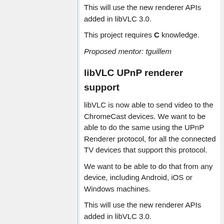This will use the new renderer APIs added in libVLC 3.0.
This project requires C knowledge.
Proposed mentor: tguillem
libVLC UPnP renderer support
libVLC is now able to send video to the ChromeCast devices. We want to be able to do the same using the UPnP Renderer protocol, for all the connected TV devices that support this protocol.
We want to be able to do that from any device, including Android, iOS or Windows machines.
This will use the new renderer APIs added in libVLC 3.0.
This project requires C knowledge.